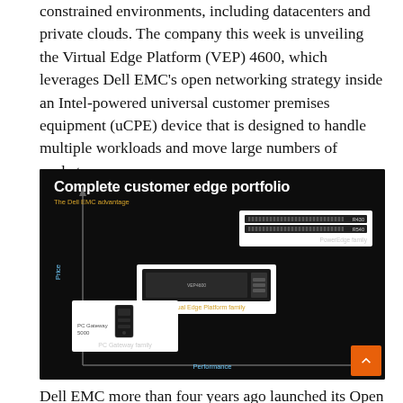constrained environments, including datacenters and private clouds. The company this week is unveiling the Virtual Edge Platform (VEP) 4600, which leverages Dell EMC's open networking strategy inside an Intel-powered universal customer premises equipment (uCPE) device that is designed to handle multiple workloads and move large numbers of packets.
[Figure (infographic): Dark-themed infographic titled 'Complete customer edge portfolio — The Dell EMC advantage'. Shows a price vs performance axis with three product families: PC Gateway family (bottom left, PC Gateway 5000), Virtual Edge Platform family (middle, VEP4600), and PowerEdge family (top right, R430 and R540). Orange back-to-top button in bottom-right corner.]
Dell EMC more than four years ago launched its Open...